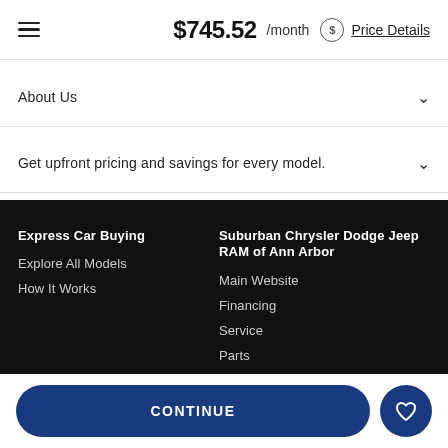$745.52 /month  Price Details
About Us
Get upfront pricing and savings for every model.
Express Car Buying
Explore All Models
How It Works
Suburban Chrysler Dodge Jeep RAM of Ann Arbor
Main Website
Financing
Service
Parts
CONTINUE